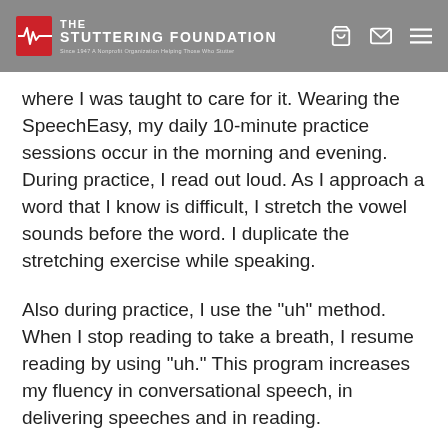THE STUTTERING FOUNDATION — Since 1947 A Nonprofit Organization Helping Those Who Stutter
where I was taught to care for it. Wearing the SpeechEasy, my daily 10-minute practice sessions occur in the morning and evening. During practice, I read out loud. As I approach a word that I know is difficult, I stretch the vowel sounds before the word. I duplicate the stretching exercise while speaking.
Also during practice, I use the "uh" method. When I stop reading to take a breath, I resume reading by using "uh." This program increases my fluency in conversational speech, in delivering speeches and in reading.
I was the "In the Canal" version of the SpeechEa...